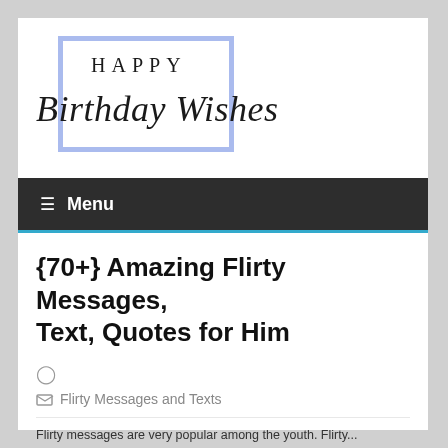[Figure (logo): Happy Birthday Wishes website logo — 'HAPPY' in uppercase serif with 'Birthday Wishes' in italic script below, overlapping a light blue rectangle border]
≡  Menu
{70+} Amazing Flirty Messages, Text, Quotes for Him
🕐
Flirty Messages and Texts
Flirty messages are very popular among the youth. Flirty...